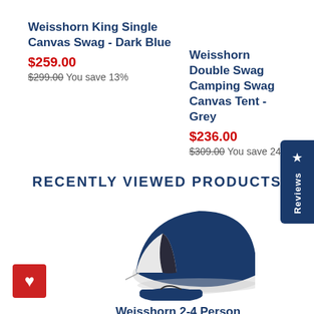Weisshorn King Single Canvas Swag - Dark Blue
$259.00
$299.00 You save 13%
Weisshorn Double Swag Camping Swag Canvas Tent - Grey
$236.00
$309.00 You save 24%
RECENTLY VIEWED PRODUCTS
[Figure (photo): A navy blue and white dome tent with a carrying bag below it]
Weisshorn 2-4 Person